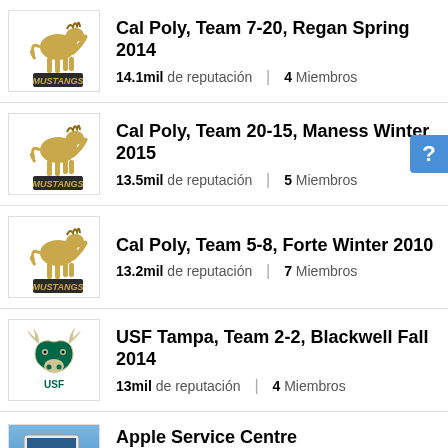Cal Poly, Team 7-20, Regan Spring 2014 | 14.1mil de reputación | 4 Miembros
Cal Poly, Team 20-15, Maness Winter 2015 | 13.5mil de reputación | 5 Miembros
Cal Poly, Team 5-8, Forte Winter 2010 | 13.2mil de reputación | 7 Miembros
USF Tampa, Team 2-2, Blackwell Fall 2014 | 13mil de reputación | 4 Miembros
Apple Service Centre | We are a family run team and have a passion for...